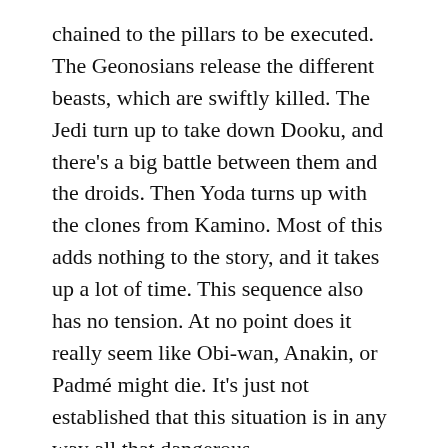chained to the pillars to be executed. The Geonosians release the different beasts, which are swiftly killed. The Jedi turn up to take down Dooku, and there's a big battle between them and the droids. Then Yoda turns up with the clones from Kamino. Most of this adds nothing to the story, and it takes up a lot of time. This sequence also has no tension. At no point does it really seem like Obi-wan, Anakin, or Padmé might die. It's just not established that this situation is in any way all that dangerous.
A way to streamline this part of the film would have been to cut out the battle in space between Obi-wan and Jango Fett, and instead give them a battle in the arena. They've already